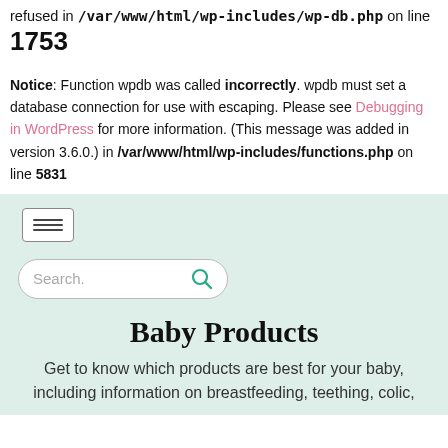refused in /var/www/html/wp-includes/wp-db.php on line 1753
Notice: Function wpdb was called incorrectly. wpdb must set a database connection for use with escaping. Please see Debugging in WordPress for more information. (This message was added in version 3.6.0.) in /var/www/html/wp-includes/functions.php on line 5831
[Figure (screenshot): WordPress website header with hamburger menu icon on mint/light-green background]
Search.
Baby Products
Get to know which products are best for your baby, including information on breastfeeding, teething, colic,